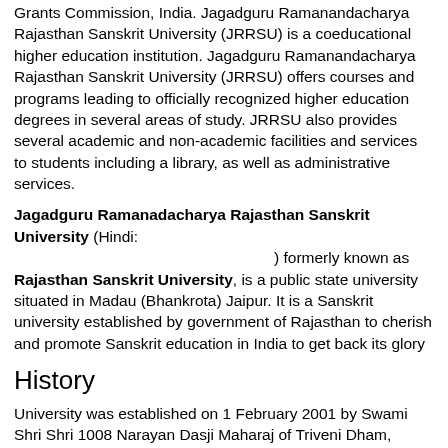Grants Commission, India. Jagadguru Ramanandacharya Rajasthan Sanskrit University (JRRSU) is a coeducational higher education institution. Jagadguru Ramanandacharya Rajasthan Sanskrit University (JRRSU) offers courses and programs leading to officially recognized higher education degrees in several areas of study. JRRSU also provides several academic and non-academic facilities and services to students including a library, as well as administrative services.
Jagadguru Ramanadacharya Rajasthan Sanskrit University (Hindi: ) formerly known as Rajasthan Sanskrit University, is a public state university situated in Madau (Bhankrota) Jaipur. It is a Sanskrit university established by government of Rajasthan to cherish and promote Sanskrit education in India to get back its glory
History
University was established on 1 February 2001 by Swami Shri Shri 1008 Narayan Dasji Maharaj of Triveni Dham, Jaipur. Padmashri Mandan Mishra served as the first pro vice-chancellor of the university. On 27 June 2005 university was renamed as Jagadguru Ramanandacharya Rajasthan Sanskrit